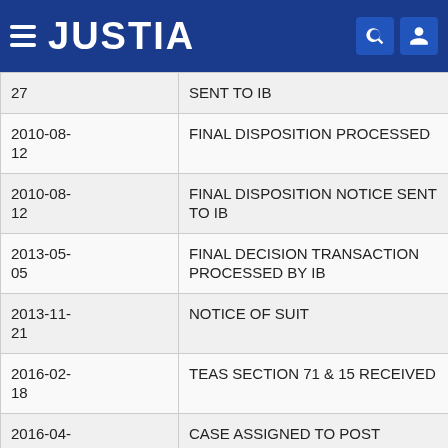[Figure (screenshot): Justia website header with hamburger menu icon, JUSTIA logo in white on dark blue background, search icon and user icon on the right]
| Date | Event |
| --- | --- |
| 27 | SENT TO IB |
| 2010-08-12 | FINAL DISPOSITION PROCESSED |
| 2010-08-12 | FINAL DISPOSITION NOTICE SENT TO IB |
| 2013-05-05 | FINAL DECISION TRANSACTION PROCESSED BY IB |
| 2013-11-21 | NOTICE OF SUIT |
| 2016-02-18 | TEAS SECTION 71 & 15 RECEIVED |
| 2016-04-02 | CASE ASSIGNED TO POST REGISTRATION PARALEGAL |
| 2016-04- | REGISTERED - SEC. 71 ACCEPTED & SEC. 15 |